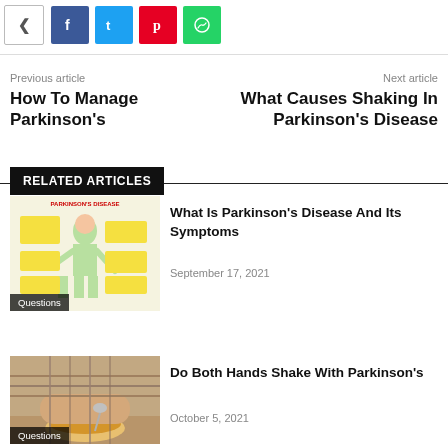[Figure (infographic): Social share buttons: share icon, Facebook (blue), Twitter (cyan), Pinterest (red), WhatsApp (green)]
Previous article
How To Manage Parkinson's
Next article
What Causes Shaking In Parkinson's Disease
RELATED ARTICLES
[Figure (illustration): Illustration of a person with Parkinson's disease symptoms diagram with yellow sticky notes, labeled with symptoms.]
What Is Parkinson's Disease And Its Symptoms
September 17, 2021
[Figure (photo): Photo of an elderly person with shaking hands holding a spoon over a bowl of soup.]
Do Both Hands Shake With Parkinson's
October 5, 2021